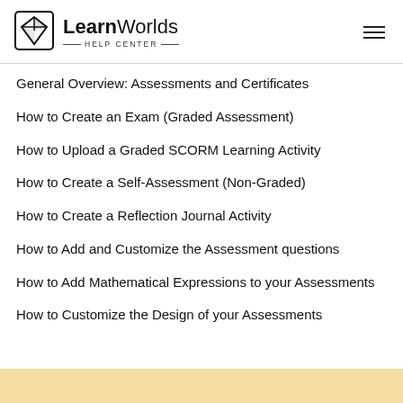LearnWorlds HELP CENTER
General Overview: Assessments and Certificates
How to Create an Exam (Graded Assessment)
How to Upload a Graded SCORM Learning Activity
How to Create a Self-Assessment (Non-Graded)
How to Create a Reflection Journal Activity
How to Add and Customize the Assessment questions
How to Add Mathematical Expressions to your Assessments
How to Customize the Design of your Assessments